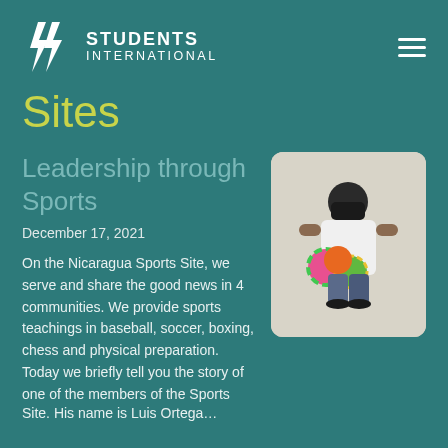STUDENTS INTERNATIONAL
Sites
Leadership through Sports
December 17, 2021
[Figure (photo): Person wearing a black face mask, white t-shirt, holding colorful balls, standing against a light wall]
On the Nicaragua Sports Site, we serve and share the good news in 4 communities. We provide sports teachings in baseball, soccer, boxing, chess and physical preparation. Today we briefly tell you the story of one of the members of the Sports Site. His name is Luis Ortega…